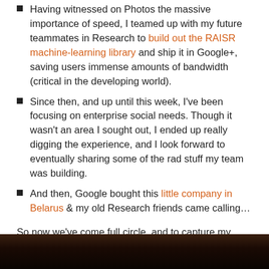Having witnessed on Photos the massive importance of speed, I teamed up with my future teammates in Research to build out the RAISR machine-learning library and ship it in Google+, saving users immense amounts of bandwidth (critical in the developing world).
Since then, and up until this week, I've been focusing on enterprise social needs. Though it wasn't an area I sought out, I ended up really digging the experience, and I look forward to eventually sharing some of the rad stuff my team was building.
And then, Google bought this little company in Belarus & my old Research friends came calling…
So now we've come full circle, and to capture my feelings, I'll cite SNL yet again. Wish me luck. 🙂
[Figure (photo): Dark photo strip at the bottom of the page, showing a dimly lit scene]